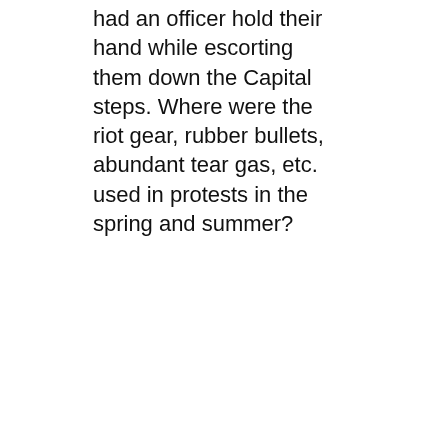had an officer hold their hand while escorting them down the Capital steps. Where were the riot gear, rubber bullets, abundant tear gas, etc. used in protests in the spring and summer?
Like
JANUARY 7, 2021 AT 11:46 AM | REPLY
SYGHOST says: This is a profound, thought-provoking post that unfortunately won't be seen by